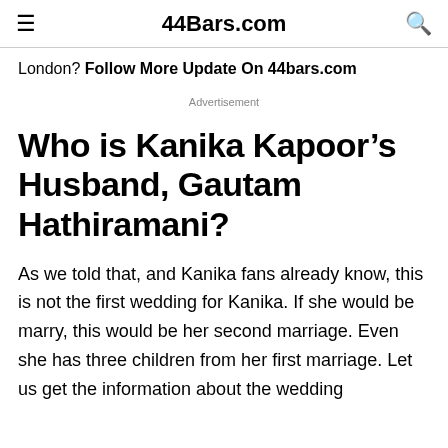44Bars.com
London? Follow More Update On 44bars.com
Advertisement
Who is Kanika Kapoor’s Husband, Gautam Hathiramani?
As we told that, and Kanika fans already know, this is not the first wedding for Kanika. If she would be marry, this would be her second marriage. Even she has three children from her first marriage. Let us get the information about the wedding